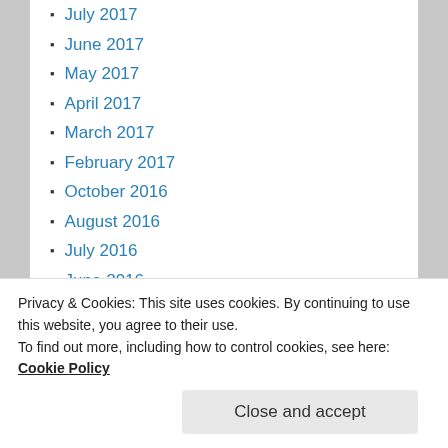July 2017
June 2017
May 2017
April 2017
March 2017
February 2017
October 2016
August 2016
July 2016
June 2016
May 2016
April 2016
March 2016
February 2016
Privacy & Cookies: This site uses cookies. By continuing to use this website, you agree to their use. To find out more, including how to control cookies, see here: Cookie Policy
Close and accept